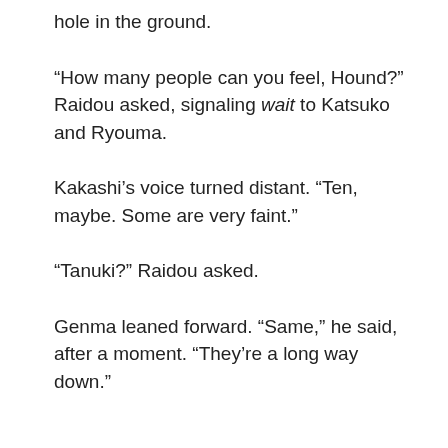hole in the ground.
“How many people can you feel, Hound?” Raidou asked, signaling wait to Katsuko and Ryouma.
Kakashi’s voice turned distant. “Ten, maybe. Some are very faint.”
“Tanuki?” Raidou asked.
Genma leaned forward. “Same,” he said, after a moment. “They’re a long way down.”